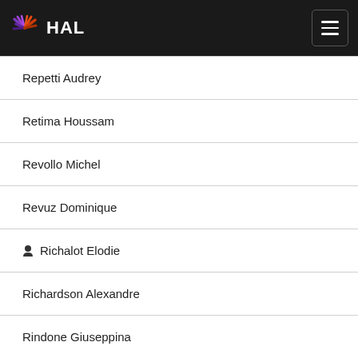HAL
Repetti Audrey
Retima Houssam
Revollo Michel
Revuz Dominique
Richalot Elodie
Richardson Alexandre
Rindone Giuseppina
Ripoll Christian
Rispal Chloé
Rivera Ura Jean Carlo